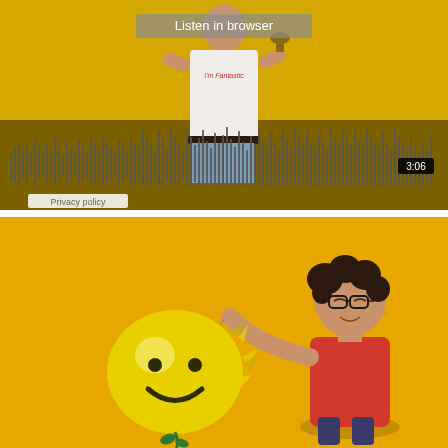[Figure (screenshot): Screenshot of a music player embed in browser showing a person in a white t-shirt on a yellow background with an audio waveform visualization, a 'Listen in browser' button, timestamp 3:06, and a Privacy policy link]
[Figure (photo): Photo of a person with glasses on a yellow background holding/near a yellow smiley face balloon that appears to be bursting or deflating]